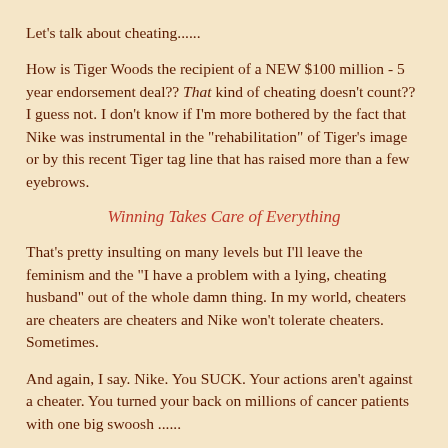Let's talk about cheating......
How is Tiger Woods the recipient of a NEW $100 million - 5 year endorsement deal??  That kind of cheating doesn't count?? I guess not.  I don't know if I'm more bothered by the fact that Nike was instrumental in the "rehabilitation" of Tiger's image or by this recent Tiger tag line that has raised more than a few eyebrows.
Winning Takes Care of Everything
That's pretty insulting on many levels but I'll leave the feminism and the "I have a problem with a lying, cheating husband" out of the whole damn thing.  In my world, cheaters are cheaters are cheaters and Nike won't tolerate cheaters. Sometimes.
And again, I say.  Nike.  You SUCK.  Your actions aren't against a cheater.  You turned your back on millions of cancer patients with one big swoosh ......